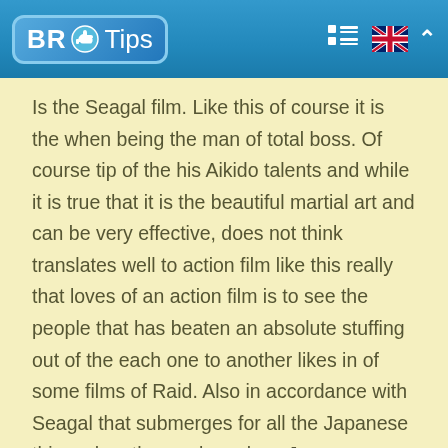BR Tips
Is the Seagal film. Like this of course it is the when being the man of total boss. Of course tip of the his Aikido talents and while it is true that it is the beautiful martial art and can be very effective, does not think translates well to action film like this really that loves of an action film is to see the people that has beaten an absolute stuffing out of the each one to another likes in of some films of Raid. Also in accordance with Seagal that submerges for all the Japanese things, has the random place Japanese launched in the look bit it out of place, particularly in the climax of a film that considers a doubt of main harm is Chinese as